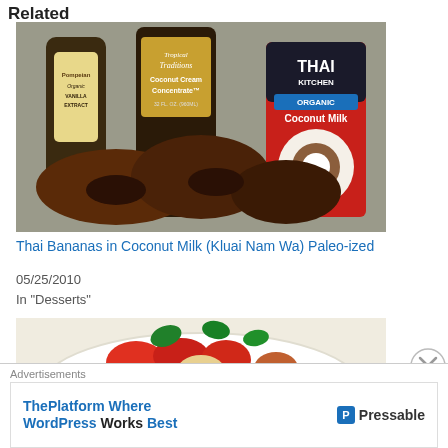Related
[Figure (photo): Photo of Thai bananas with Tropical Traditions Coconut Cream Concentrate, Pompeian Organic Vanilla Extract, and Thai Kitchen Organic Coconut Milk on a countertop]
Thai Bananas in Coconut Milk (Kluai Nam Wa) Paleo-ized
05/25/2010
In "Desserts"
[Figure (photo): Photo of a Thai dish with vegetables and sauce on a white plate]
Advertisements
ThePlatform Where WordPress Works Best — Pressable